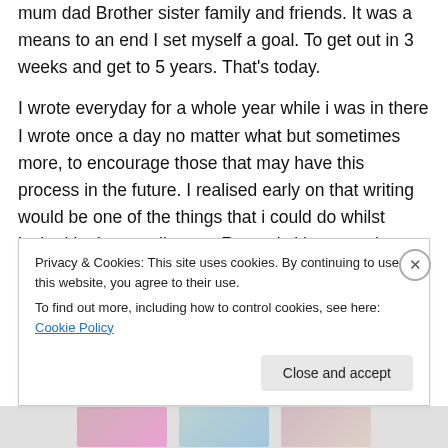mum dad Brother sister family and friends. It was a means to an end I set myself a goal. To get out in 3 weeks and get to 5 years. That's today.
I wrote everyday for a whole year while i was in there I wrote once a day no matter what but sometimes more, to encourage those that may have this process in the future. I realised early on that writing would be one of the things that i could do whilst locked in that small room. Recently i have not been on my blog that much but to my surprise there has never been a day goes past, where it does not get read.
Privacy & Cookies: This site uses cookies. By continuing to use this website, you agree to their use.
To find out more, including how to control cookies, see here: Cookie Policy